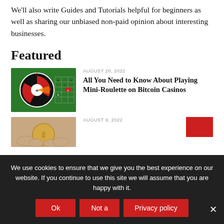We'll also write Guides and Tutorials helpful for beginners as well as sharing our unbiased non-paid opinion about interesting businesses.
Featured
[Figure (photo): Roulette wheel and betting table, green background with red and black spaces]
AUGUST 20, 2022
All You Need to Know About Playing Mini-Roulette on Bitcoin Casinos
[Figure (photo): Hand holding a Bitcoin coin, close-up]
AUGUST 9, 2022
We use cookies to ensure that we give you the best experience on our website. If you continue to use this site we will assume that you are happy with it.
Ok
Not a
Privacy policy